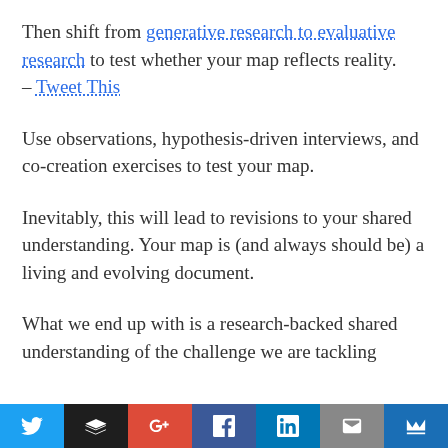Then shift from generative research to evaluative research to test whether your map reflects reality. – Tweet This
Use observations, hypothesis-driven interviews, and co-creation exercises to test your map.
Inevitably, this will lead to revisions to your shared understanding. Your map is (and always should be) a living and evolving document.
What we end up with is a research-backed shared understanding of the challenge we are tackling
Social share bar: Twitter, Buffer, Google+, Facebook, LinkedIn, Email, Crown